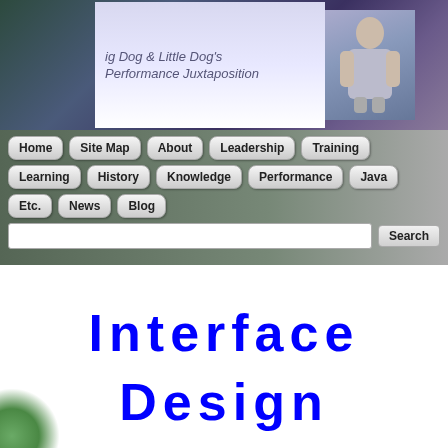[Figure (screenshot): Website banner with 'Big Dog & Little Dog's Performance Juxtaposition' title and a photo of a man]
Home | Site Map | About | Leadership | Training | Learning | History | Knowledge | Performance | Java | Etc. | News | Blog
Interface Design
Interface design is the